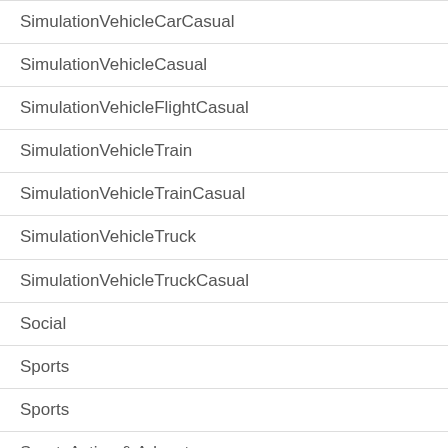SimulationVehicleCarCasual
SimulationVehicleCasual
SimulationVehicleFlightCasual
SimulationVehicleTrain
SimulationVehicleTrainCasual
SimulationVehicleTruck
SimulationVehicleTruckCasual
Social
Sports
Sports
SportsAction & Adventure
SportsAmerican FootballCasual
SportsBasketballCasual